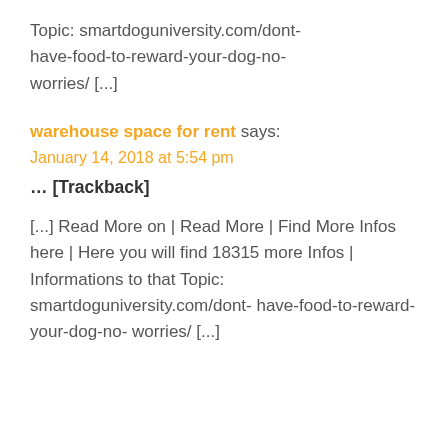Topic: smartdoguniversity.com/dont-have-food-to-reward-your-dog-no-worries/ [...]
warehouse space for rent says:
January 14, 2018 at 5:54 pm
... [Trackback]
[...] Read More on | Read More | Find More Infos here | Here you will find 18315 more Infos | Informations to that Topic: smartdoguniversity.com/dont-have-food-to-reward-your-dog-no-worries/ [...]